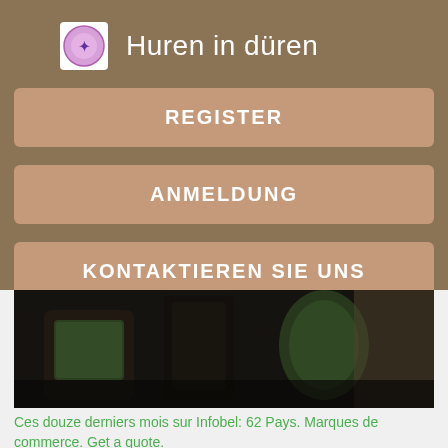Huren in düren
REGISTER
ANMELDUNG
KONTAKTIEREN SIE UNS
[Figure (photo): Dark photo of chairs with green cushions in a dimly lit interior setting]
Ces douze derniers mois sur Infobel: 62 Pays. Marques de commerce. Get a quote.